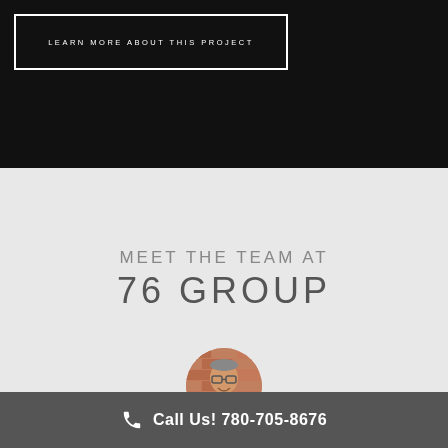LEARN MORE ABOUT THIS PROJECT
MEET THE TEAM AT
76 GROUP
[Figure (photo): Circular profile photo of a man with glasses, smiling, in front of a brick wall background.]
Call Us! 780-705-8676